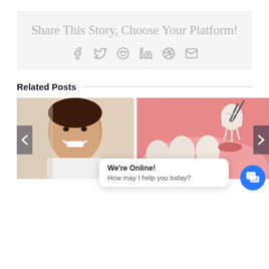Share This Story, Choose Your Platform!
[Figure (infographic): Social share icons: Facebook, Twitter, Reddit, LinkedIn, WhatsApp, Email]
Related Posts
[Figure (photo): Woman smiling and pointing to her teeth]
[Figure (illustration): 3D illustration of tooth extraction dental diagram]
We're Online! How may I help you today?